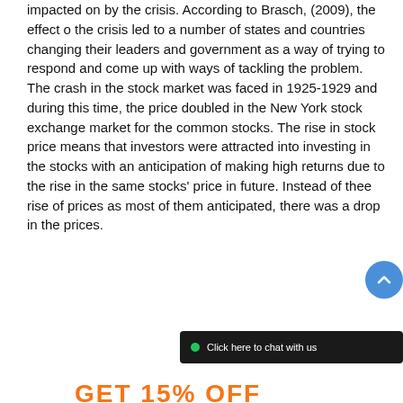impacted on by the crisis. According to Brasch, (2009), the effect o the crisis led to a number of states and countries changing their leaders and government as a way of trying to respond and come up with ways of tackling the problem. The crash in the stock market was faced in 1925-1929 and during this time, the price doubled in the New York stock exchange market for the common stocks. The rise in stock price means that investors were attracted into investing in the stocks with an anticipation of making high returns due to the rise in the same stocks' price in future. Instead of thee rise of prices as most of them anticipated, there was a drop in the prices.
[Figure (infographic): A dark blue countdown timer box showing 'HURRY UP! LIMITED TIME OFFER' with digit boxes showing 0, 5 : 1, 9 for days and hours, and partially obscured minutes/seconds. Below is a dark chat bar with a green dot and text 'Click here to chat with us'. A blue circular scroll-up button appears to the right.]
GET 15% OFF